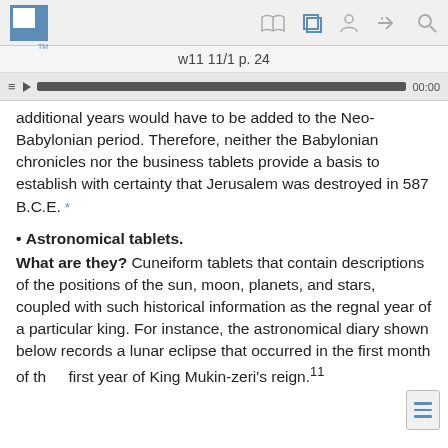w11 11/1 p. 24
additional years would have to be added to the Neo-Babylonian period. Therefore, neither the Babylonian chronicles nor the business tablets provide a basis to establish with certainty that Jerusalem was destroyed in 587 B.C.E. *
• Astronomical tablets.
What are they? Cuneiform tablets that contain descriptions of the positions of the sun, moon, planets, and stars, coupled with such historical information as the regnal year of a particular king. For instance, the astronomical diary shown below records a lunar eclipse that occurred in the first month of the first year of King Mukin-zeri's reign.11